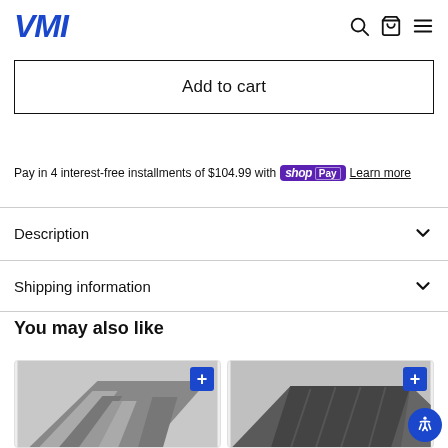VMI
Add to cart
Pay in 4 interest-free installments of $104.99 with Shop Pay Learn more
Description
Shipping information
You may also like
[Figure (photo): Product image thumbnail 1 - gray metallic item]
[Figure (photo): Product image thumbnail 2 - dark gray item]